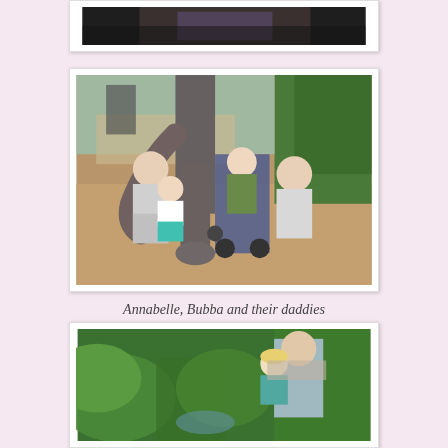[Figure (photo): Partial view of a photo showing what appears to be a car seat or bag, cropped at top of page]
[Figure (photo): Two dads with children near an elephant at a zoo or animal park. One man kneels on the left with a toddler girl in a white top and teal skirt touching the elephant trunk. Another man crouches on the right next to a child in a stroller. Sandy/mulch ground, tropical foliage in background.]
Annabelle, Bubba and their daddies
[Figure (photo): A man holding a young blonde toddler girl in a teal shirt, surrounded by lush tropical greenery and large leaves. They appear to be looking at something among the plants.]